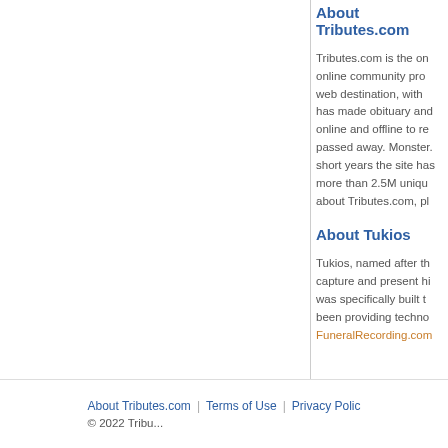About Tributes.com
Tributes.com is the on... online community pro... web destination, with ... has made obituary and... online and offline to r... passed away. Monster... short years the site has... more than 2.5M uniqu... about Tributes.com, pl...
About Tukios
Tukios, named after th... capture and present hi... was specifically built t... been providing techno... FuneralRecording.com...
About Tributes.com | Terms of Use | Privacy Polic... © 2022 Tribu...